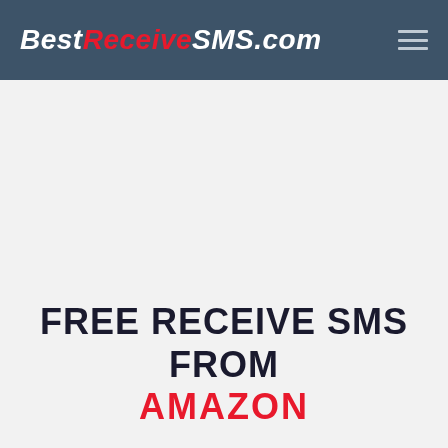BestReceiveSMS.com
FREE RECEIVE SMS FROM AMAZON